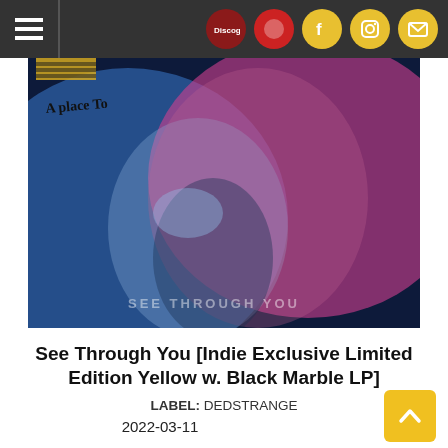Navigation bar with hamburger menu and social/external icon links (Discogs, red circle, Facebook, Instagram, email)
[Figure (photo): Album cover art for 'A Place To...' / 'See Through You' - a close-up photograph of a face lit with blue and pink/magenta lighting, with 'A PLACE TO' handwritten text in upper left and 'SEE THROUGH YOU' text watermark in lower right]
See Through You [Indie Exclusive Limited Edition Yellow w. Black Marble LP]
LABEL: DEDSTRANGE
2022-03-11